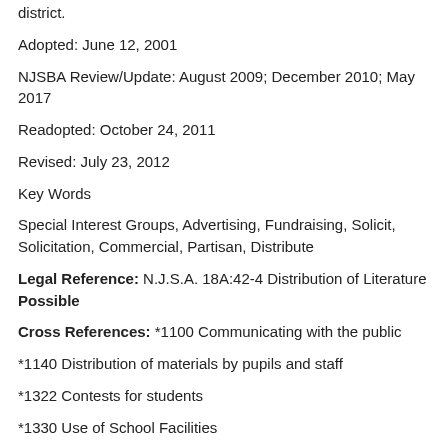district.
Adopted: June 12, 2001
NJSBA Review/Update: August 2009; December 2010; May 2017
Readopted: October 24, 2011
Revised: July 23, 2012
Key Words
Special Interest Groups, Advertising, Fundraising, Solicit, Solicitation, Commercial, Partisan, Distribute
Legal Reference: N.J.S.A. 18A:42-4 Distribution of Literature Possible
Cross References: *1100 Communicating with the public
*1140 Distribution of materials by pupils and staff
*1322 Contests for students
*1330 Use of School Facilities
4135.16 Work stoppages/strikes